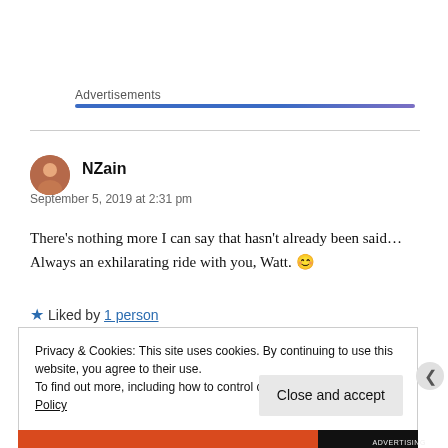Advertisements
NZain
September 5, 2019 at 2:31 pm
There's nothing more I can say that hasn't already been said… Always an exhilarating ride with you, Watt. 😊
★ Liked by 1 person
Privacy & Cookies: This site uses cookies. By continuing to use this website, you agree to their use. To find out more, including how to control cookies, see here: Cookie Policy
Close and accept